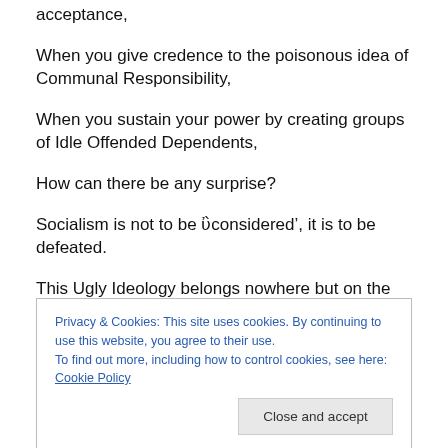acceptance,
When you give credence to the poisonous idea of Communal Responsibility,
When you sustain your power by creating groups of Idle Offended Dependents,
How can there be any surprise?
Socialism is not to be ‘considered’, it is to be defeated.
This Ugly Ideology belongs nowhere but on the ash heap
Privacy & Cookies: This site uses cookies. By continuing to use this website, you agree to their use.
To find out more, including how to control cookies, see here: Cookie Policy
Do we have Champions who will discover renewed zeal in